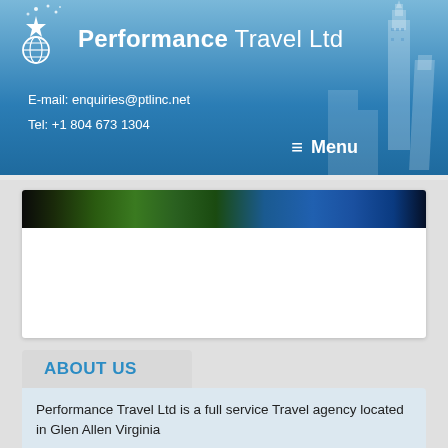Performance Travel Ltd — E-mail: enquiries@ptlinc.net — Tel: +1 804 673 1304
[Figure (photo): Dark banner image strip showing tropical foliage and blue sky, partially visible at top of white card]
ABOUT US
Performance Travel Ltd is a full service Travel agency located in Glen Allen Virginia